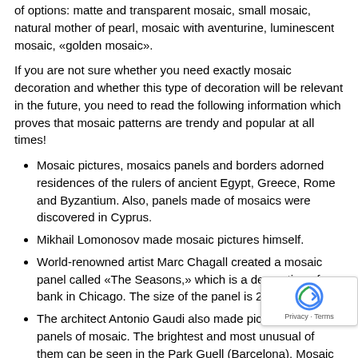of options: matte and transparent mosaic, small mosaic, natural mother of pearl, mosaic with aventurine, luminescent mosaic, «golden mosaic».
If you are not sure whether you need exactly mosaic decoration and whether this type of decoration will be relevant in the future, you need to read the following information which proves that mosaic patterns are trendy and popular at all times!
Mosaic pictures, mosaics panels and borders adorned residences of the rulers of ancient Egypt, Greece, Rome and Byzantium. Also, panels made of mosaics were discovered in Cyprus.
Mikhail Lomonosov made mosaic pictures himself.
World-renowned artist Marc Chagall created a mosaic panel called «The Seasons,» which is a decoration of a bank in Chicago. The size of the panel is 280 meters!
The architect Antonio Gaudi also made pictures and panels of mosaic. The brightest and most unusual of them can be seen in the Park Guell (Barcelona). Mosaic panels by Gaudi are unique and incredibly expressive!
Mosaic pictures and panels are used for interior of Sheraton hotel in Addis Ababa.